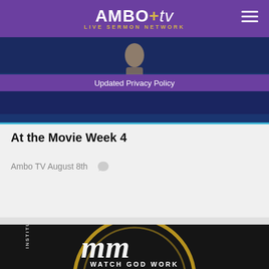AMBO+tv LIVE SERMON NETWORK
[Figure (screenshot): Top portion of a video showing a preacher on a stage with blue lighting background]
Updated Privacy Policy
At the Movie Week 4
Ambo TV  August 8th
[Figure (photo): Black background with gold circular design, cursive MM initials in white, text INSTITUTION at the side and WATCH GOD WORK at the bottom]